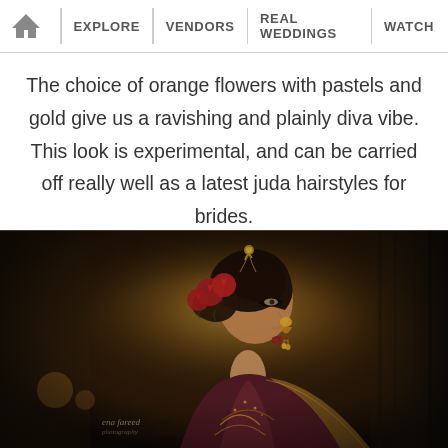🏠 EXPLORE | VENDORS | REAL WEDDINGS | WATCH
The choice of orange flowers with pastels and gold give us a ravishing and plainly diva vibe. This look is experimental, and can be carried off really well as a latest juda hairstyles for brides.
[Figure (photo): A bride in profile view wearing a dark maroon and gold embroidered outfit, with red roses in a juda (updo) hairstyle, gold maang tikka jewelry, large jhumka earrings, and dramatic eye makeup. The photo has a warm, moody, sepia-tinted tone. A small watermark reads 'ena fareed' at the lower left.]